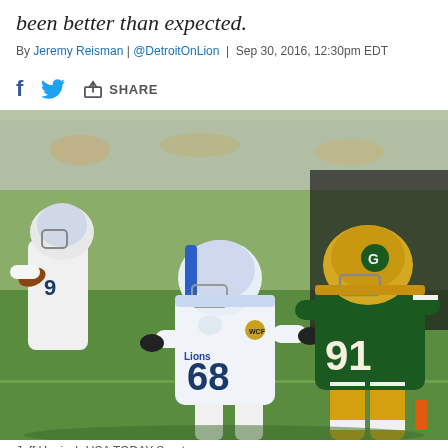been better than expected.
By Jeremy Reisman | @DetroitOnLion | Sep 30, 2016, 12:30pm EDT
[Figure (photo): Detroit Lions offensive lineman #68 blocking against Green Bay Packers #91 defensive player, with Lions quarterback in background holding ball. NFL game action photo. Credit: Jeff Hanisch-USA TODAY Sports]
Jeff Hanisch-USA TODAY Sports